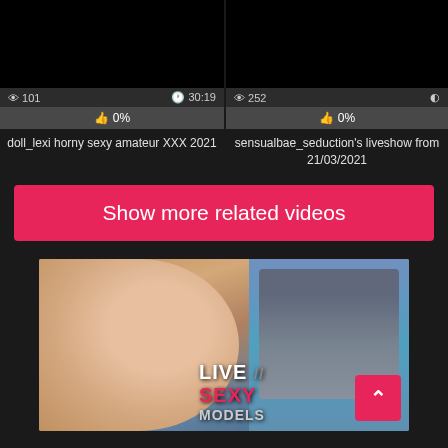[Figure (screenshot): Black video thumbnail for doll_lexi video]
👁 101  🕐 30:19
👍 0%
doll_lexi horny sexy amateur XXX 2021
[Figure (screenshot): Black video thumbnail for sensualbae_seduction video]
👁 252  🕐
👍 0%
sensualbae_seduction's liveshow from 21/03/2021
Show more related videos
[Figure (photo): Adult content banner image with LIVE // SEXY MODELS text overlay]